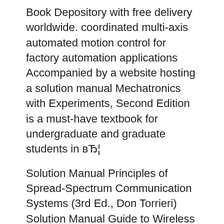Book Depository with free delivery worldwide. coordinated multi-axis automated motion control for factory automation applications Accompanied by a website hosting a solution manual Mechatronics with Experiments, Second Edition is a must-have textbook for undergraduate and graduate students in вЂ¦
Solution Manual Principles of Spread-Spectrum Communication Systems (3rd Ed., Don Torrieri) Solution Manual Guide to Wireless Sensor Networks (Sudip Misra, Isaac Woungang, Subhas Chandra Misra) Solution Manual Introduction to Random Signals and Applied Kalman Filtering with Matlab Exercises (4th Ed., Robert Grover Brown, Patrick Y. C. Hwang) 11/04/2019В В· Solutions Manual for Mechatronics with